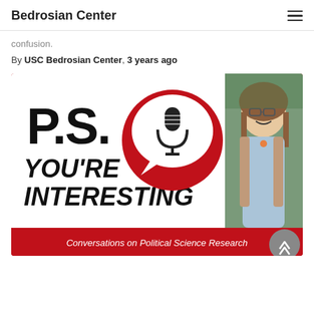Bedrosian Center
confusion.
By USC Bedrosian Center, 3 years ago
[Figure (illustration): Podcast promotional image for 'P.S. You're Interesting – Conversations on Political Science Research' with a microphone in a speech bubble on a red and white background, and a photo of a smiling woman with glasses and long hair on the right side.]